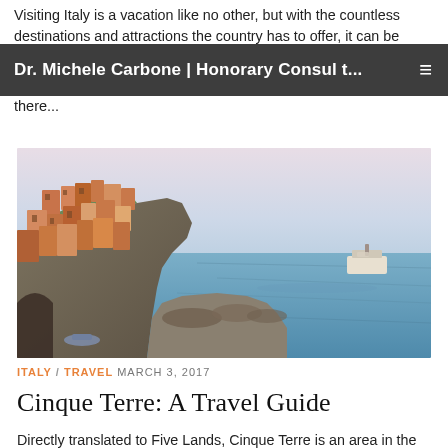Visiting Italy is a vacation like no other, but with the countless destinations and attractions the country has to offer, it can be
Dr. Michele Carbone | Honorary Consul t...  ≡   memorable
there...
[Figure (photo): Aerial view of Cinque Terre (Manarola), with colorful buildings built into rocky cliffs above the sea, with a boat in the harbor and rocky breakwater.]
ITALY / TRAVEL  MARCH 3, 2017
Cinque Terre: A Travel Guide
Directly translated to Five Lands, Cinque Terre is an area in the